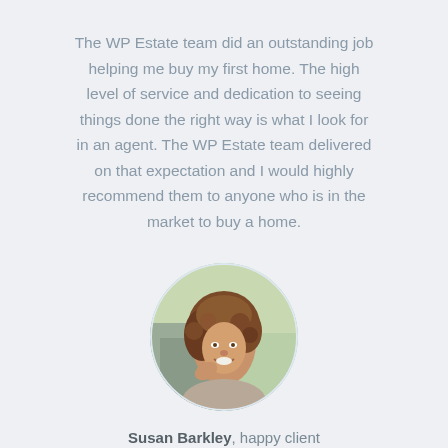The WP Estate team did an outstanding job helping me buy my first home. The high level of service and dedication to seeing things done the right way is what I look for in an agent. The WP Estate team delivered on that expectation and I would highly recommend them to anyone who is in the market to buy a home.
[Figure (photo): Circular portrait photo of a smiling woman with curly brown hair, outdoors with green background.]
Susan Barkley, happy client